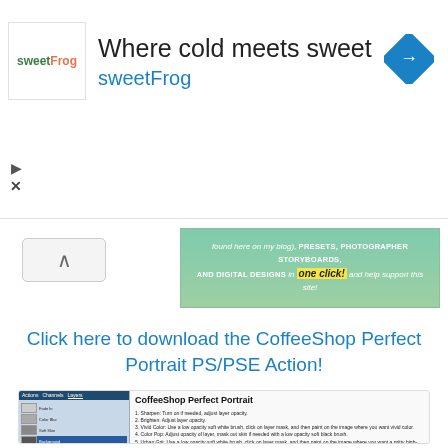[Figure (illustration): SweetFrog advertisement banner with logo, headline 'Where cold meets sweet', brand name 'sweetFrog', and a blue diamond navigation icon]
[Figure (illustration): Promotional banner strip with text about presets, photographer storyboards, and digital designs with 'one click!' highlighted in yellow]
Click here to download the CoffeeShop Perfect Portrait PS/PSE Action!
[Figure (screenshot): Screenshot of Photoshop layers panel showing CoffeeShop Perfect Portrait action layers alongside instruction text listing 12 steps for using the action]